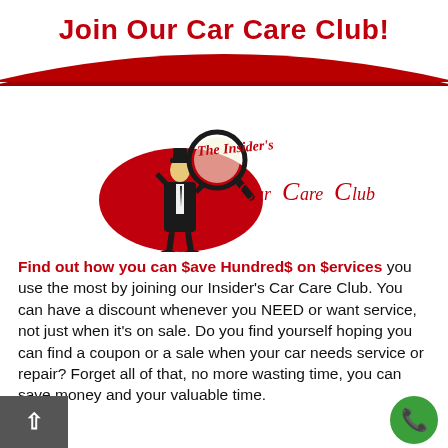Join Our Car Care Club!
[Figure (logo): The Insider's Car Care Club logo featuring a detective/businessman holding a magnifying glass in front of a red oval, with the text 'The Insider's Car Care Club' in red italic font]
Find out how you can $ave Hundred$ on $ervices you use the most by joining our Insider's Car Care Club. You can have a discount whenever you NEED or want service, not just when it's on sale. Do you find yourself hoping you can find a coupon or a sale when your car needs service or repair? Forget all of that, no more wasting time, you can save money and your valuable time.